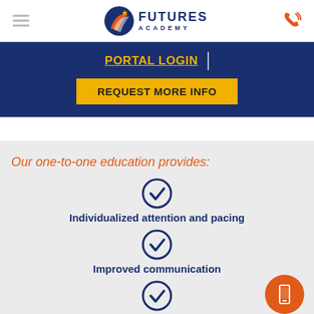[Figure (logo): Futures Academy logo with circular emblem and text FUTURES ACADEMY]
PORTAL LOGIN
REQUEST MORE INFO
Our one-to-one education provides:
Individualized attention and pacing
Improved communication